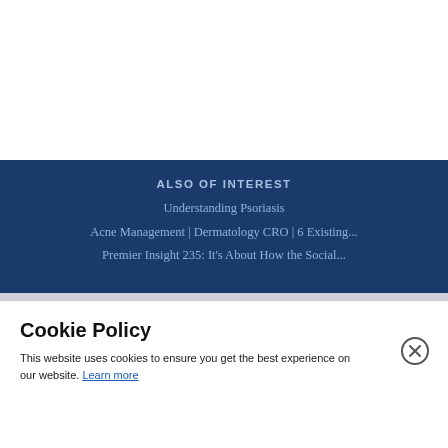ALSO OF INTEREST
Understanding Psoriasis
Acne Management | Dermatology CRO | 6 Existing...
Premier Insight 235: It's About How the Social...
Cookie Policy
This website uses cookies to ensure you get the best experience on our website. Learn more